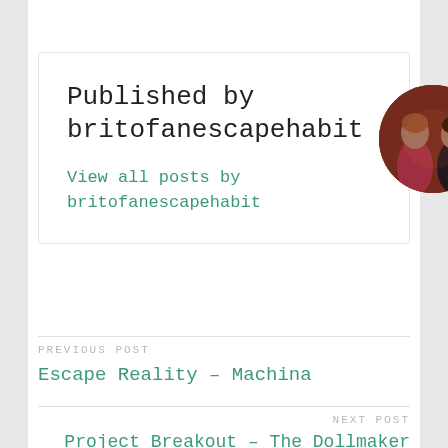Published by britofanescapehabit
View all posts by britofanescapehabit
[Figure (photo): Circular avatar photo showing people at an event]
PREVIOUS POST
Escape Reality – Machina
NEXT POST
Project Breakout – The Dollmaker